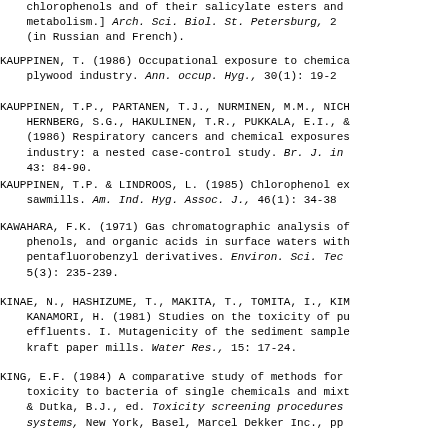chlorophenols and of their salicylate esters and metabolism.] Arch. Sci. Biol. St. Petersburg, 2 (in Russian and French).
KAUPPINEN, T. (1986) Occupational exposure to chemicals in the plywood industry. Ann. occup. Hyg., 30(1): 19-29.
KAUPPINEN, T.P., PARTANEN, T.J., NURMINEN, M.M., NICHOLSON, W.J., HERNBERG, S.G., HAKULINEN, T.R., PUKKALA, E.I., & TOLA, S. (1986) Respiratory cancers and chemical exposures in the wood industry: a nested case-control study. Br. J. ind. Med., 43: 84-90.
KAUPPINEN, T.P. & LINDROOS, L. (1985) Chlorophenol exposure in sawmills. Am. Ind. Hyg. Assoc. J., 46(1): 34-38.
KAWAHARA, F.K. (1971) Gas chromatographic analysis of chlorophenols, and organic acids in surface waters with pentafluorobenzyl derivatives. Environ. Sci. Technol., 5(3): 235-239.
KINAE, N., HASHIZUME, T., MAKITA, T., TOMITA, I., KIMURA, I., & KANAMORI, H. (1981) Studies on the toxicity of pulp and paper effluents. I. Mutagenicity of the sediment samples from kraft paper mills. Water Res., 15: 17-24.
KING, E.F. (1984) A comparative study of methods for assessing toxicity to bacteria of single chemicals and mixtures. In: Liu, & Dutka, B.J., ed. Toxicity screening procedures using bacterial systems, New York, Basel, Marcel Dekker Inc., pp.